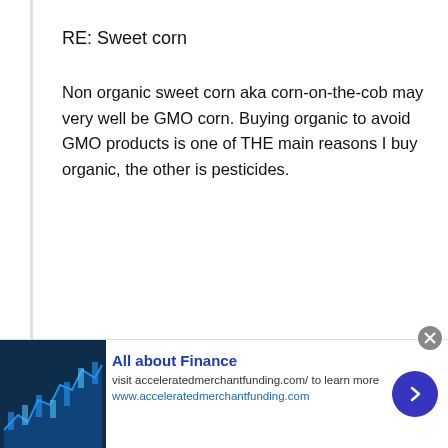RE: Sweet corn
Non organic sweet corn aka corn-on-the-cob may very well be GMO corn. Buying organic to avoid GMO products is one of THE main reasons I buy organic, the other is pesticides.
[Figure (infographic): Advertisement banner for 'All about Finance' with a stock market chart image, ad title, subtitle, URL, close button, and arrow button]
All about Finance
visit acceleratedmerchantfunding.com/ to learn more
www.acceleratedmerchantfunding.com